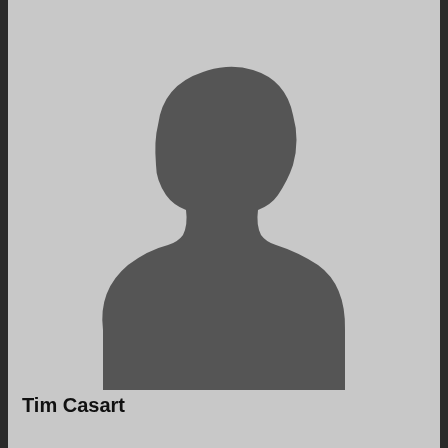[Figure (photo): Generic placeholder silhouette of a person (grey head and shoulders on light grey background) with a 'Menu' button in the top-left corner]
Tim Casart